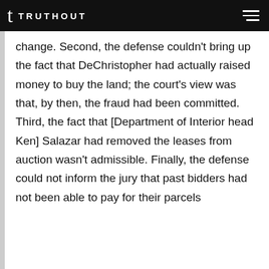TRUTHOUT
change. Second, the defense couldn't bring up the fact that DeChristopher had actually raised money to buy the land; the court's view was that, by then, the fraud had been committed. Third, the fact that [Department of Interior head Ken] Salazar had removed the leases from auction wasn't admissible. Finally, the defense could not inform the jury that past bidders had not been able to pay for their parcels